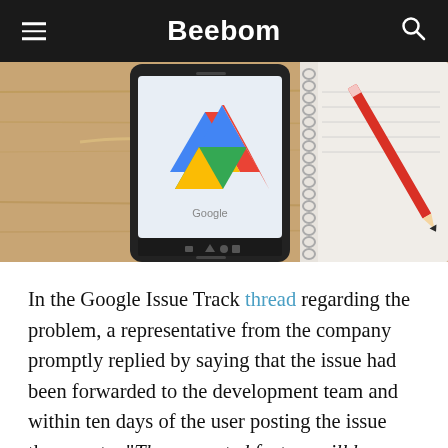Beebom
[Figure (photo): A smartphone displaying Google Drive logo on its screen, placed on a wooden surface next to a spiral-bound notebook with a red pencil.]
In the Google Issue Track thread regarding the problem, a representative from the company promptly replied by saying that the issue had been forwarded to the development team and within ten days of the user posting the issue they wrote: “The requested feature will be available in a future release.” While we’re not